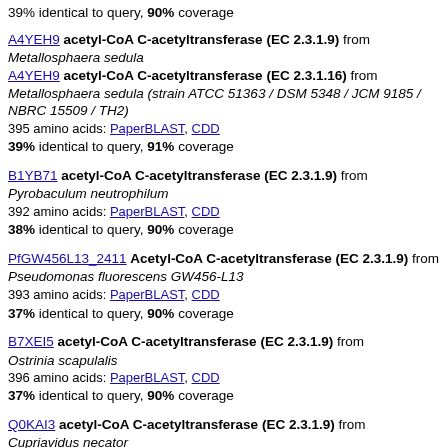39% identical to query, 90% coverage
A4YEH9 acetyl-CoA C-acetyltransferase (EC 2.3.1.9) from Metallosphaera sedula
A4YEH9 acetyl-CoA C-acetyltransferase (EC 2.3.1.16) from Metallosphaera sedula (strain ATCC 51363 / DSM 5348 / JCM 9185 / NBRC 15509 / TH2)
395 amino acids: PaperBLAST, CDD
39% identical to query, 91% coverage
B1YB71 acetyl-CoA C-acetyltransferase (EC 2.3.1.9) from Pyrobaculum neutrophilum
392 amino acids: PaperBLAST, CDD
38% identical to query, 90% coverage
PfGW456L13_2411 Acetyl-CoA C-acetyltransferase (EC 2.3.1.9) from Pseudomonas fluorescens GW456-L13
393 amino acids: PaperBLAST, CDD
37% identical to query, 90% coverage
B7XEI5 acetyl-CoA C-acetyltransferase (EC 2.3.1.9) from Ostrinia scapulalis
396 amino acids: PaperBLAST, CDD
37% identical to query, 90% coverage
Q0KAI3 acetyl-CoA C-acetyltransferase (EC 2.3.1.9) from Cupriavidus necator